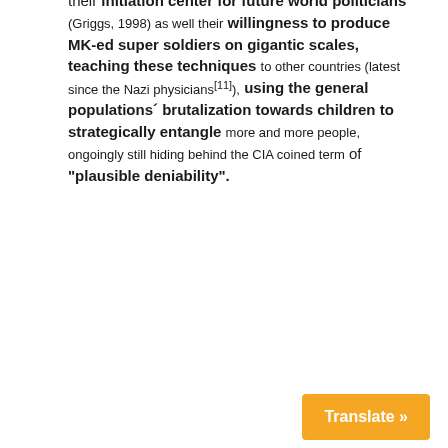their initiation center for future world politicians" (Griggs, 1998) as well their willingness to produce MK-ed super soldiers on gigantic scales, teaching these techniques to other countries (latest since the Nazi physicians[11]), using the general populations´ brutalization towards children to strategically entangle more and more people, ongoingly still hiding behind the CIA coined term of "plausible deniability".
Translate »